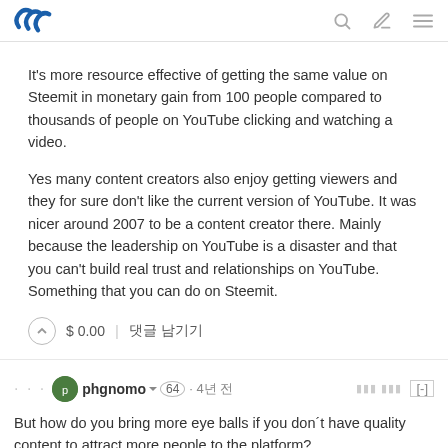Steemit header with logo and navigation icons
It's more resource effective of getting the same value on Steemit in monetary gain from 100 people compared to thousands of people on YouTube clicking and watching a video.
Yes many content creators also enjoy getting viewers and they for sure don't like the current version of YouTube. It was nicer around 2007 to be a content creator there. Mainly because the leadership on YouTube is a disaster and that you can't build real trust and relationships on YouTube. Something that you can do on Steemit.
$ 0.00  |  댓글 남기기
phgnomo  64 · 4년 전
But how do you bring more eye balls if you don´t have quality content to attract more people to the platform?
I talked a bit more here: